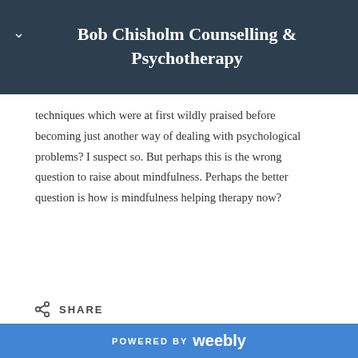Bob Chisholm Counselling & Psychotherapy
techniques which were at first wildly praised before becoming just another way of dealing with psychological problems? I suspect so. But perhaps this is the wrong question to raise about mindfulness. Perhaps the better question is how is mindfulness helping therapy now?
SHARE
POWERED BY weebly